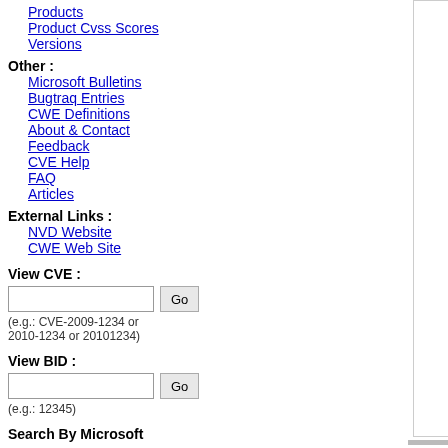Products
Product Cvss Scores
Versions
Other :
Microsoft Bulletins
Bugtraq Entries
CWE Definitions
About & Contact
Feedback
CVE Help
FAQ
Articles
External Links :
NVD Website
CWE Web Site
View CVE :
(e.g.: CVE-2009-1234 or 2010-1234 or 20101234)
View BID :
(e.g.: 12345)
Search By Microsoft
[Figure (bar-chart): 2004]
[Figure (grouped-bar-chart): ]
[Figure (pie-chart): Pie chart with magenta/pink and gray segments, partially visible]